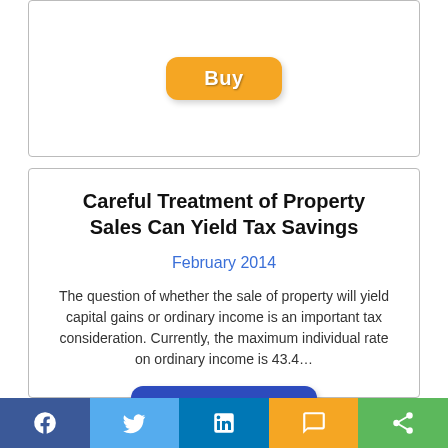[Figure (other): Top card with orange Buy button]
Careful Treatment of Property Sales Can Yield Tax Savings
February 2014
The question of whether the sale of property will yield capital gains or ordinary income is an important tax consideration. Currently, the maximum individual rate on ordinary income is 43.4…
[Figure (other): Blue Read more button]
[Figure (other): Orange Buy button]
[Figure (other): Social media bar with Facebook, Twitter, LinkedIn, SMS, and Share buttons]